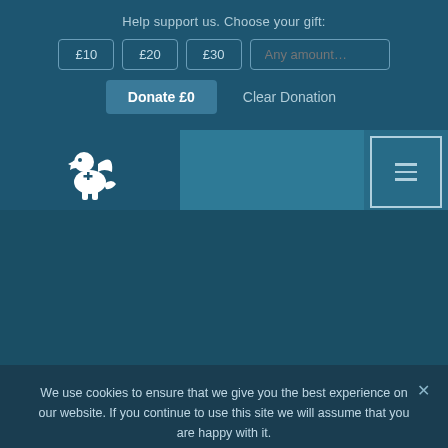Help support us. Choose your gift:
[Figure (screenshot): Donation widget with £10, £20, £30 buttons and an Any amount input field, plus Donate £0 and Clear Donation buttons]
[Figure (logo): White griffin/dragon heraldic logo with cross]
[Figure (other): Hamburger menu button (three horizontal lines) in a bordered square]
We use cookies to ensure that we give you the best experience on our website. If you continue to use this site we will assume that you are happy with it.
Ok   Read more